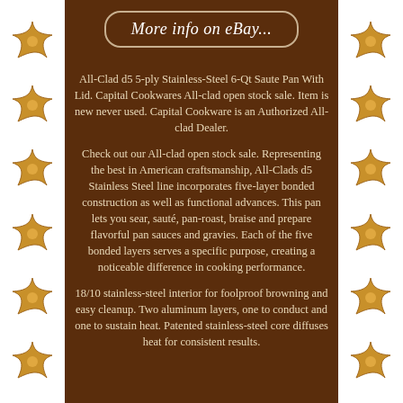[Figure (illustration): Decorative starfish/sea star illustrations arranged vertically on left border of page]
[Figure (illustration): Decorative starfish/sea star illustrations arranged vertically on right border of page]
More info on eBay...
All-Clad d5 5-ply Stainless-Steel 6-Qt Saute Pan With Lid. Capital Cookwares All-clad open stock sale. Item is new never used. Capital Cookware is an Authorized All-clad Dealer.
Check out our All-clad open stock sale. Representing the best in American craftsmanship, All-Clads d5 Stainless Steel line incorporates five-layer bonded construction as well as functional advances. This pan lets you sear, sauté, pan-roast, braise and prepare flavorful pan sauces and gravies. Each of the five bonded layers serves a specific purpose, creating a noticeable difference in cooking performance.
18/10 stainless-steel interior for foolproof browning and easy cleanup. Two aluminum layers, one to conduct and one to sustain heat. Patented stainless-steel core diffuses heat for consistent results.